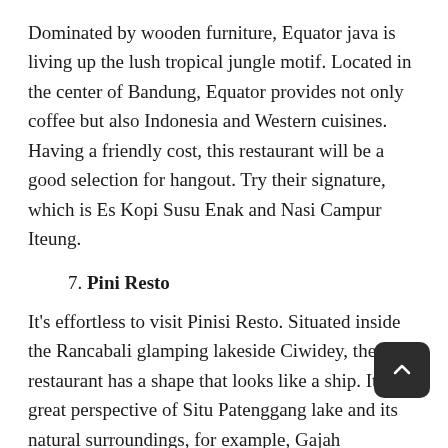Dominated by wooden furniture, Equator java is living up the lush tropical jungle motif. Located in the center of Bandung, Equator provides not only coffee but also Indonesia and Western cuisines. Having a friendly cost, this restaurant will be a good selection for hangout. Try their signature, which is Es Kopi Susu Enak and Nasi Campur Iteung.
7. Pini Resto
It's effortless to visit Pinisi Resto. Situated inside the Rancabali glamping lakeside Ciwidey, the restaurant has a shape that looks like a ship. It's a great perspective of Situ Patenggang lake and its natural surroundings, for example, Gajah mountain, Patuha mountain, a tea plantation, and much more. You may enjoy delicious Indonesian food, in addition to some Western and Asian foods. The restaurant has three floors, with 60 pax capacity per floor.